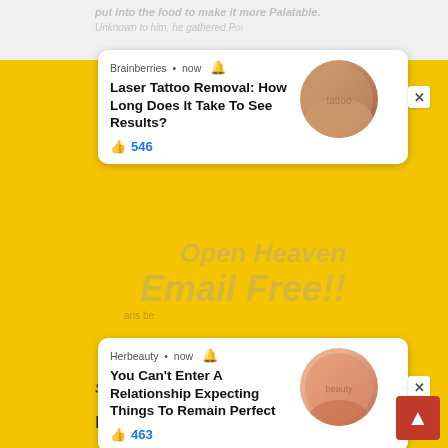[Figure (screenshot): Screenshot of a webpage with two ad notification cards overlaying a yellow background page. First card from Brainberries about 'Laser Tattoo Removal: How Long Does It Take To See Results?' with 546 likes and a circular photo. Second card from Herbeauty about 'You Can't Enter A Relationship Expecting Things To Remain Perfect' with 463 likes and a circular photo. Background shows yellow page with email signup form area with 'Sign Me Up' button. Bottom shows text 'I Pray this Morning that any Poison in your System will die... Amen'. Red scroll-to-top button in bottom right corner.]